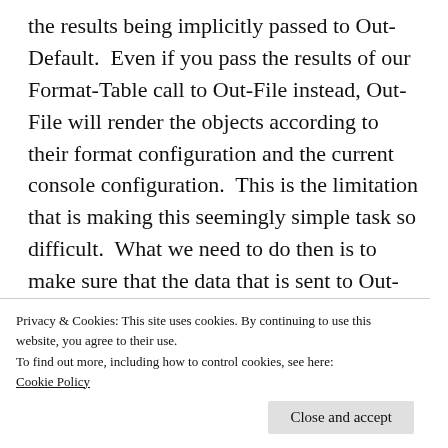the results being implicitly passed to Out-Default.  Even if you pass the results of our Format-Table call to Out-File instead, Out-File will render the objects according to their format configuration and the current console configuration.  This is the limitation that is making this seemingly simple task so difficult.  What we need to do then is to make sure that the data that is sent to Out-File or Out-Default is pre-formatted so that it is not limited by the
Privacy & Cookies: This site uses cookies. By continuing to use this website, you agree to their use.
To find out more, including how to control cookies, see here: Cookie Policy
Close and accept